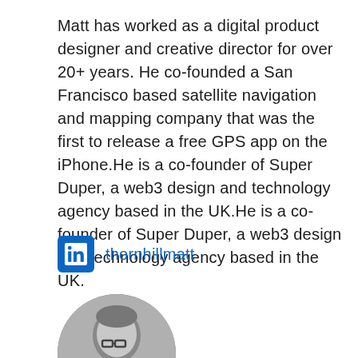Matt has worked as a digital product designer and creative director for over 20+ years. He co-founded a San Francisco based satellite navigation and mapping company that was the first to release a free GPS app on the iPhone.He is a co-founder of Super Duper, a web3 design and technology agency based in the UK.He is a co-founder of Super Duper, a web3 design and technology agency based in the UK.
[Figure (logo): LinkedIn logo icon (blue rounded square with white 'in' text) followed by the handle 'thornhillmatt']
[Figure (photo): Black and white circular portrait photo of a man wearing glasses, partially cropped at the bottom of the page]